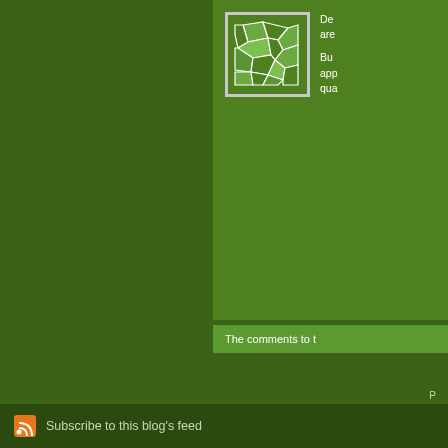[Figure (illustration): Voronoi/geometric polygon pattern logo image in a white-bordered square, on a green background]
De... are... Bu... app... qua...
The comments to this
P...
Happy Birthday, L... Nice decorations--- of The Office. Next
Subscribe to this blog's feed